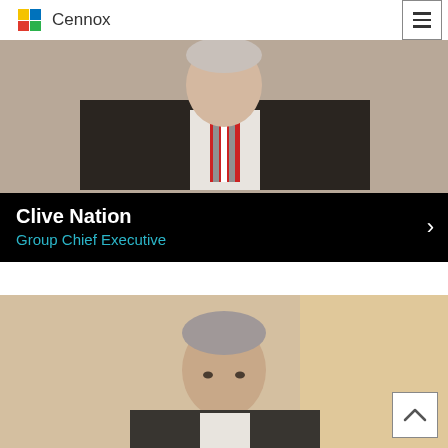[Figure (logo): Cennox company logo with colorful icon and grey text]
[Figure (photo): Professional headshot of Clive Nation, a man in a dark suit with a red striped tie, smiling, with a black overlay bar at the bottom showing his name and title]
Clive Nation
Group Chief Executive
[Figure (photo): Professional headshot of another executive, a man with grey hair in a light setting, partially visible]